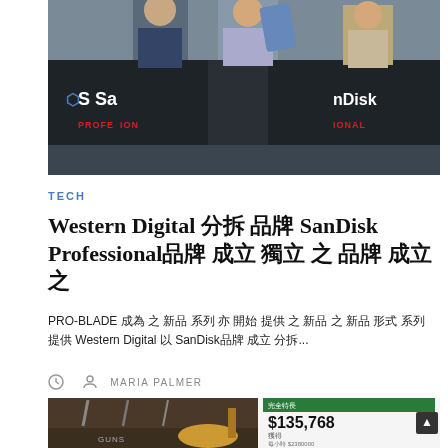[Figure (photo): Two people standing at a SanDisk Professional branded booth/table display at an event, one holding a blue/purple thin device]
TECH
Western Digital 分拆 品牌 SanDisk Professional品牌 成立 獨立 之 品牌 成立 之
PRO-BLADE 成為 之 新品 系列 亦 開始 提供 之 新品 之 新品 形式 系列 提供 Western Digital 以 SanDisk品牌 成立 分拆...
MARIA PALMER
[Figure (photo): A shop or display showing guitars and weapons on wall, alongside a smartphone screen showing $135,768 amount in a green financial/banking app interface]